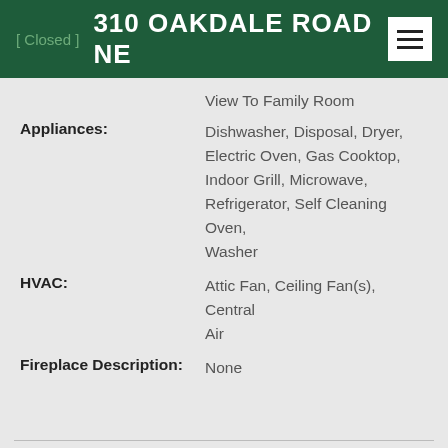[ Closed ]  310 OAKDALE ROAD NE
View To Family Room
Appliances: Dishwasher, Disposal, Dryer, Electric Oven, Gas Cooktop, Indoor Grill, Microwave, Refrigerator, Self Cleaning Oven, Washer
HVAC: Attic Fan, Ceiling Fan(s), Central Air
Fireplace Description: None
Last updated: 9/5/2022 7:00:04 PM from FMLS